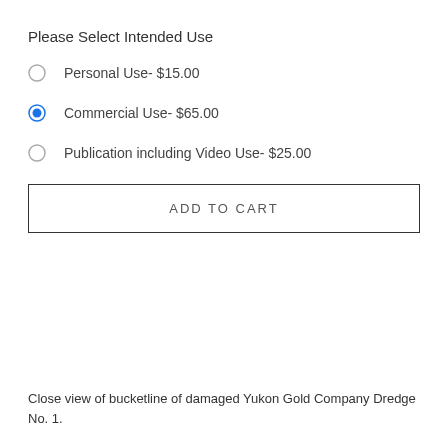Please Select Intended Use
Personal Use- $15.00
Commercial Use- $65.00
Publication including Video Use- $25.00
ADD TO CART
Close view of bucketline of damaged Yukon Gold Company Dredge No. 1.